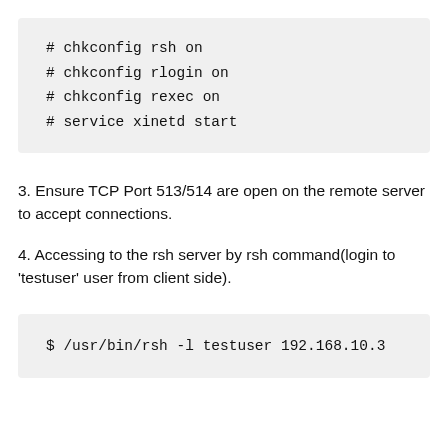# chkconfig rsh on
# chkconfig rlogin on
# chkconfig rexec on
# service xinetd start
3. Ensure TCP Port 513/514 are open on the remote server to accept connections.
4. Accessing to the rsh server by rsh command(login to 'testuser' user from client side).
$ /usr/bin/rsh -l testuser 192.168.10.3